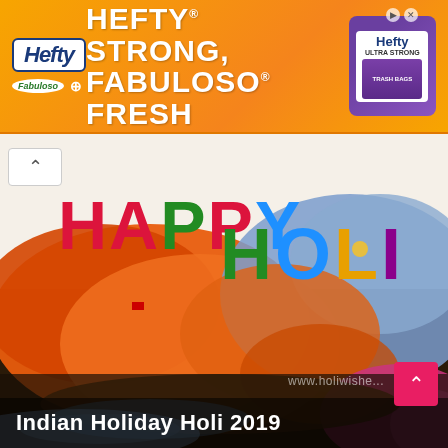[Figure (illustration): Hefty brand advertisement banner with orange gradient background. Text reads 'HEFTY STRONG, FABULOSO FRESH' with Hefty and Fabuloso logos and a product image on the right.]
[Figure (photo): Happy Holi celebration image showing colorful powder colors in orange, blue, and purple with large text 'HAPPY HOLI' in multicolored letters. Watermark reads www.holiwishes. Caption at bottom reads 'Indian Holiday Holi 2019']